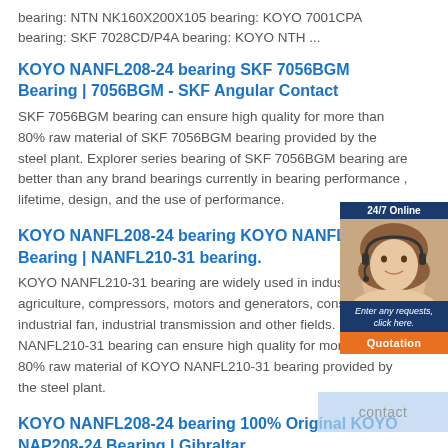bearing: NTN NK160X200X105 bearing: KOYO 7001CPA bearing: SKF 7028CD/P4A bearing: KOYO NTH ...
KOYO NANFL208-24 bearing SKF 7056BGM Bearing | 7056BGM - SKF Angular Contact
SKF 7056BGM bearing can ensure high quality for more than 80% raw material of SKF 7056BGM bearing provided by the steel plant. Explorer series bearing of SKF 7056BGM bearing are better than any brand bearings currently in bearing performance , lifetime, design, and the use of performance.
KOYO NANFL208-24 bearing KOYO NANFL210-31 Bearing | NANFL210-31 bearing.
KOYO NANFL210-31 bearing are widely used in industrial drive, agriculture, compressors, motors and generators, construction, industrial fan, industrial transmission and other fields. KOYO NANFL210-31 bearing can ensure high quality for more than 80% raw material of KOYO NANFL210-31 bearing provided by the steel plant.
KOYO NANFL208-24 bearing 100% Original KOYO NAP208-24 Bearing | Gibraltar
Are you looking for KOYO 7017C Bearing size, price and other information ? 7017C SKF bearings produced by the Japan's IKO company has become the
[Figure (photo): Chat widget showing a customer service representative with headset, a '24/7 Online' label, 'Enter any requests, click here.' text, and an orange 'Quotation' button on a dark blue background.]